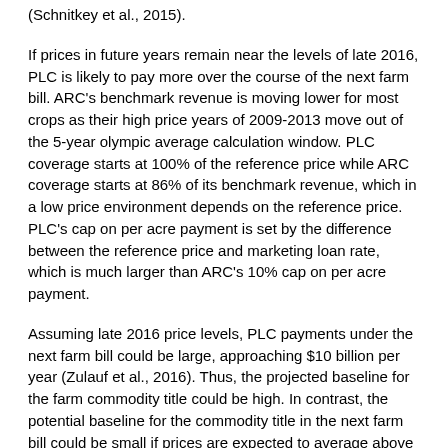(Schnitkey et al., 2015).
If prices in future years remain near the levels of late 2016, PLC is likely to pay more over the course of the next farm bill. ARC's benchmark revenue is moving lower for most crops as their high price years of 2009-2013 move out of the 5-year olympic average calculation window. PLC coverage starts at 100% of the reference price while ARC coverage starts at 86% of its benchmark revenue, which in a low price environment depends on the reference price. PLC's cap on per acre payment is set by the difference between the reference price and marketing loan rate, which is much larger than ARC's 10% cap on per acre payment.
Assuming late 2016 price levels, PLC payments under the next farm bill could be large, approaching $10 billion per year (Zulauf et al., 2016). Thus, the projected baseline for the farm commodity title could be high. In contrast, the potential baseline for the commodity title in the next farm bill could be small if prices are expected to average above the reference prices.
A high baseline for the commodities title will give the next farm bill